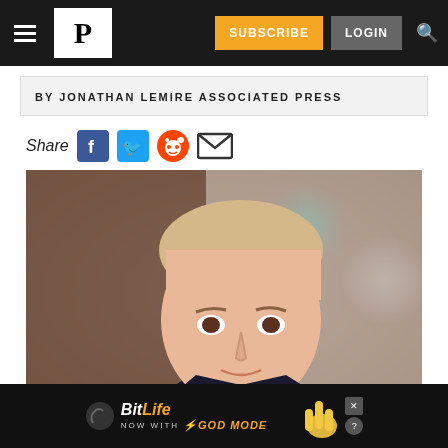P | SUBSCRIBE | LOGIN
BY JONATHAN LEMIRE ASSOCIATED PRESS
Share
[Figure (photo): Photograph of a man in a dark suit with a blue striped tie seated at a table with a microphone, blurred bokeh background with warm brown tones]
[Figure (infographic): BitLife advertisement banner: 'BitLife NOW WITH GOD MODE' on dark background with cartoon hand pointing]